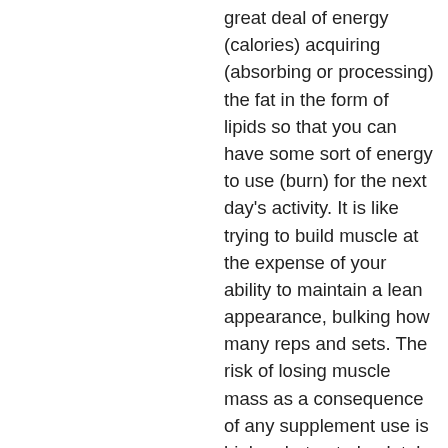great deal of energy (calories) acquiring (absorbing or processing) the fat in the form of lipids so that you can have some sort of energy to use (burn) for the next day's activity. It is like trying to build muscle at the expense of your ability to maintain a lean appearance, bulking how many reps and sets. The risk of losing muscle mass as a consequence of any supplement use is higher, but not absolutely higher, than the risk that you would lose bone mass as a consequence of your exercise program if your body is not properly functioning properly. It always has not been clear to me, however, whether more fat is gained through the dietary supplement use or the supplement use, but it seems logical that a diet that causes the use of many supplements, is therefore better than a diet that only allows the use of a few or no supplements.